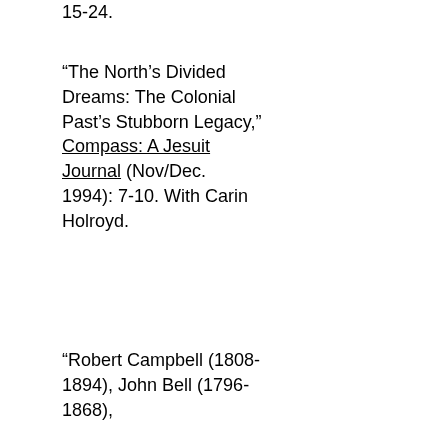15-24.
“The North’s Divided Dreams: The Colonial Past’s Stubborn Legacy,” Compass: A Jesuit Journal (Nov/Dec. 1994): 7-10. With Carin Holroyd.
“Robert Campbell (1808-1894), John Bell (1796-1868),